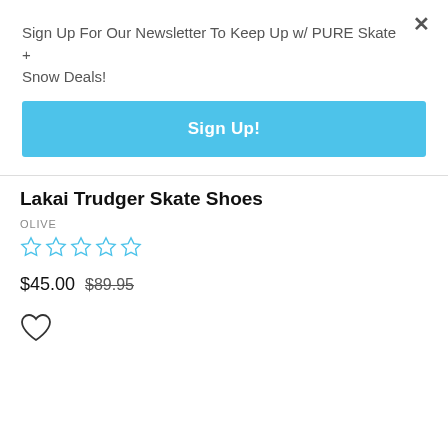Sign Up For Our Newsletter To Keep Up w/ PURE Skate + Snow Deals!
Sign Up!
Lakai Trudger Skate Shoes
OLIVE
[Figure (other): Five empty star rating icons in light blue/cyan outline style]
$45.00  $89.95
[Figure (other): Heart/wishlist icon outline]